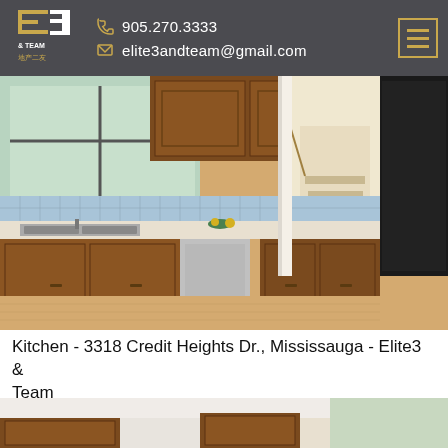Elite3 & Team | 905.270.3333 | elite3andteam@gmail.com
[Figure (photo): Kitchen photo showing wooden cabinets, double sink, white countertops, stainless steel dishwasher, tile backsplash, and view of staircase hallway - 3318 Credit Heights Dr., Mississauga]
Kitchen - 3318 Credit Heights Dr., Mississauga - Elite3 & Team
[Figure (photo): Partial photo of interior room with wooden upper cabinets and white walls - second image partially visible at bottom of page]